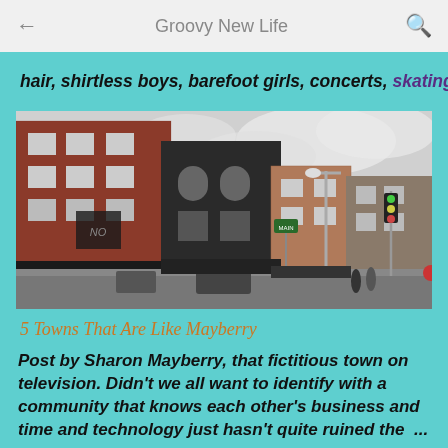Groovy New Life
hair, shirtless boys, barefoot girls, concerts, skating ...
[Figure (photo): Street scene showing brick buildings and storefronts along a downtown main street, with a street lamp and traffic lights visible in the background under a cloudy sky.]
5 Towns That Are Like Mayberry
Post by Sharon Mayberry, that fictitious town on television. Didn't we all want to identify with a community that knows each other's business and time and technology just hasn't quite ruined the ...